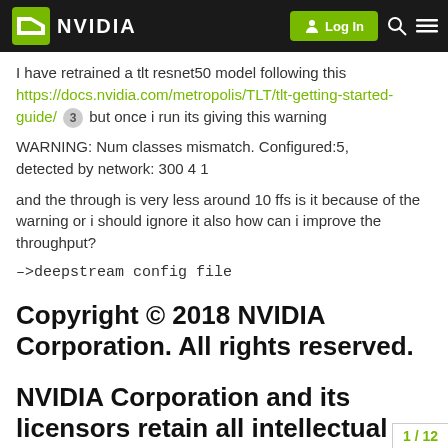NVIDIA | Log In
I have retrained a tlt resnet50 model following this https://docs.nvidia.com/metropolis/TLT/tlt-getting-started-guide/ 3 but once i run its giving this warning
WARNING: Num classes mismatch. Configured:5, detected by network: 300 4 1
and the through is very less around 10 ffs is it because of the warning or i should ignore it also how can i improve the throughput?
–>deepstream config file
Copyright © 2018 NVIDIA Corporation. All rights reserved.
NVIDIA Corporation and its licensors retain all intellectual prop
1 / 12